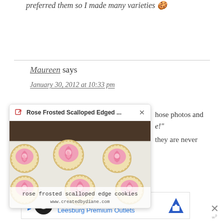preferred them so I made many varieties 🍪
Maureen says
January 30, 2012 at 10:33 pm
[Figure (screenshot): Popup overlay showing 'Rose Frosted Scalloped Edged ...' with a close button and an image of rose frosted scalloped edge cookies on a baking tray with parchment paper, captioned 'rose frosted scalloped edge cookies' and 'www.createdbydiane.com']
hose photos and
e!"
they are never
[Figure (screenshot): Advertisement banner: 'Visit Premium Outlets® Leesburg Premium Outlets' with logo, navigation icon, and close button]